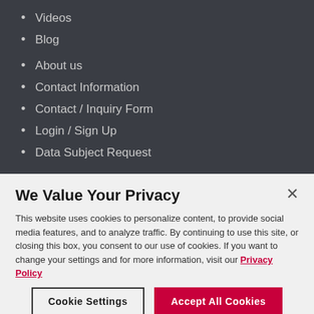Videos
Blog
About us
Contact Information
Contact / Inquiry Form
Login / Sign Up
Data Subject Request
We Value Your Privacy
This website uses cookies to personalize content, to provide social media features, and to analyze traffic. By continuing to use this site, or closing this box, you consent to our use of cookies. If you want to change your settings and for more information, visit our Privacy Policy